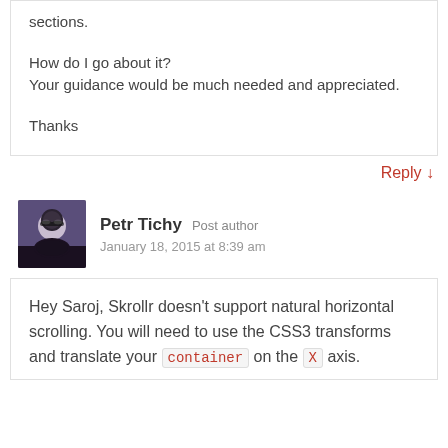sections.
How do I go about it?
Your guidance would be much needed and appreciated.
Thanks
Reply ↓
Petr Tichy  Post author
January 18, 2015 at 8:39 am
Hey Saroj, Skrollr doesn't support natural horizontal scrolling. You will need to use the CSS3 transforms and translate your container on the X axis.